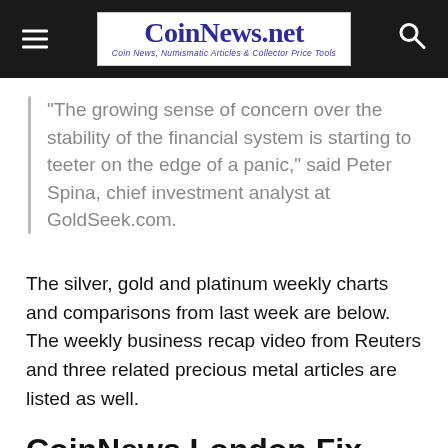CoinNews.net — Coin News, Numismatic Articles & Collector Price Tools
"The growing sense of concern over the stability of the financial system is starting to teeter on the edge of a panic," said Peter Spina, chief investment analyst at GoldSeek.com.
The silver, gold and platinum weekly charts and comparisons from last week are below. The weekly business recap video from Reuters and three related precious metal articles are listed as well.
CoinNews London Fix Charts: Silver, Gold and Platin...